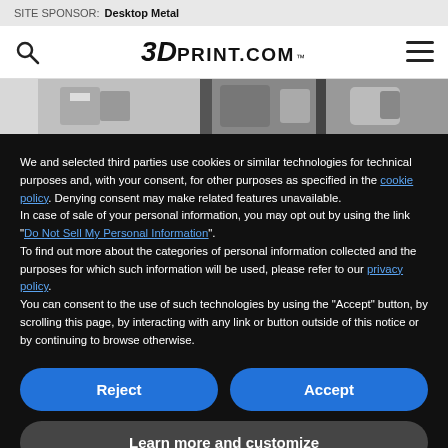SITE SPONSOR: Desktop Metal
[Figure (logo): 3DPrint.com logo with search icon on left and hamburger menu on right]
[Figure (photo): Partial image strip showing 3D printed metal parts in grayscale]
We and selected third parties use cookies or similar technologies for technical purposes and, with your consent, for other purposes as specified in the cookie policy. Denying consent may make related features unavailable.
In case of sale of your personal information, you may opt out by using the link "Do Not Sell My Personal Information".
To find out more about the categories of personal information collected and the purposes for which such information will be used, please refer to our privacy policy.
You can consent to the use of such technologies by using the "Accept" button, by scrolling this page, by interacting with any link or button outside of this notice or by continuing to browse otherwise.
Reject
Accept
Learn more and customize